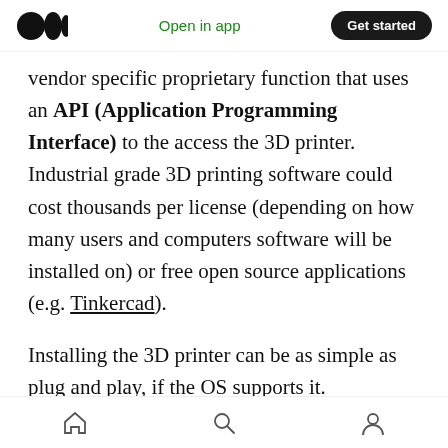Open in app | Get started
vendor specific proprietary function that uses an API (Application Programming Interface) to the access the 3D printer. Industrial grade 3D printing software could cost thousands per license (depending on how many users and computers software will be installed on) or free open source applications (e.g. Tinkercad).
Installing the 3D printer can be as simple as plug and play, if the OS supports it. Otherwise, a specific device driver may be requested from the Internet. Older units that come with device drivers may distribute them on CD, which would
Home | Search | Profile